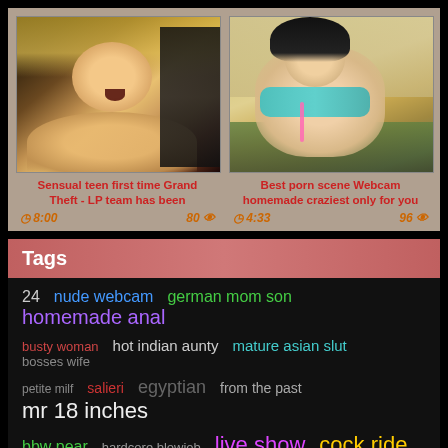[Figure (photo): Two video thumbnails side by side on a beige/tan background. Left: blonde woman. Right: Asian woman in bikini top.]
Sensual teen first time Grand Theft - LP team has been
8:00   80
Best porn scene Webcam homemade craziest only for you
4:33   96
Tags
24   nude webcam   german mom son   homemade anal
busty woman   hot indian aunty   mature asian slut   bosses wife
petite milf   salieri   egyptian   from the past   mr 18 inches
bbw pear   hardcore blowjob   live show   cock ride